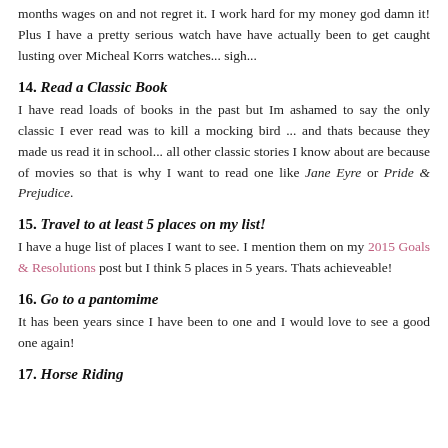months wages on and not regret it. I work hard for my money god damn it! Plus I have a pretty serious watch have have actually been to get caught lusting over Micheal Korrs watches... sigh...
14. Read a Classic Book
I have read loads of books in the past but Im ashamed to say the only classic I ever read was to kill a mocking bird ... and thats because they made us read it in school... all other classic stories I know about are because of movies so that is why I want to read one like Jane Eyre or Pride & Prejudice.
15. Travel to at least 5 places on my list!
I have a huge list of places I want to see. I mention them on my 2015 Goals & Resolutions post but I think 5 places in 5 years. Thats achieveable!
16. Go to a pantomime
It has been years since I have been to one and I would love to see a good one again!
17. Horse Riding